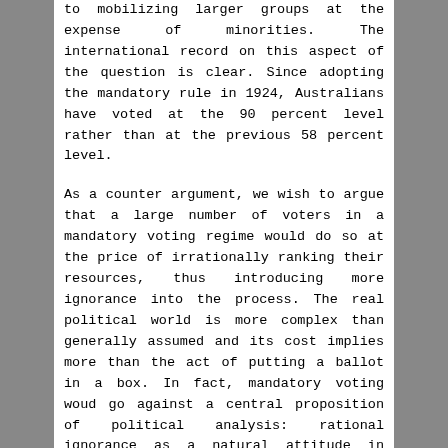to mobilizing larger groups at the expense of minorities. The international record on this aspect of the question is clear. Since adopting the mandatory rule in 1924, Australians have voted at the 90 percent level rather than at the previous 58 percent level.
As a counter argument, we wish to argue that a large number of voters in a mandatory voting regime would do so at the price of irrationally ranking their resources, thus introducing more ignorance into the process. The real political world is more complex than generally assumed and its cost implies more than the act of putting a ballot in a box. In fact, mandatory voting woud go against a central proposition of political analysis: rational ignorance as a natural attitude in politics. In democratic regimes, most voters, including a large proportion of those who vote, choose not to invest the time, the money and the energy required to make a well-informed decision. The origin of this gap rests on the fact that the process leading to informed political decisions is not free. Representative rather than